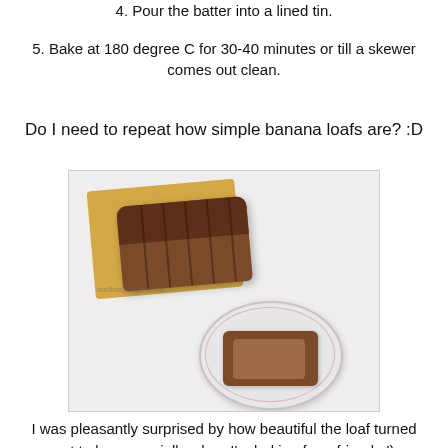4. Pour the batter into a lined tin.
5. Bake at 180 degree C for 30-40 minutes or till a skewer comes out clean.
Do I need to repeat how simple banana loafs are? :D
[Figure (photo): Photo of a sliced banana loaf on a wooden cutting board beside a plate with two slices, on a white background.]
I was pleasantly surprised by how beautiful the loaf turned out to be, especially when I'm baking for a friend. :')